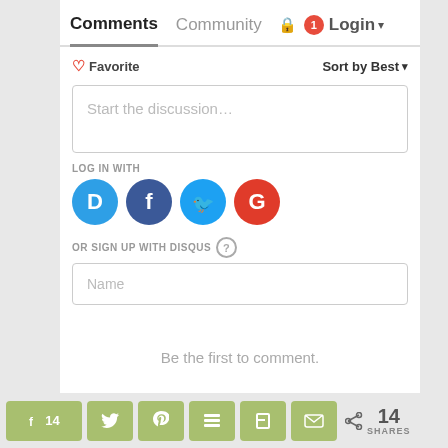Comments  Community  Login
Favorite  Sort by Best
Start the discussion…
LOG IN WITH
[Figure (infographic): Four social login icons: Disqus (blue), Facebook (dark blue), Twitter (light blue), Google (red)]
OR SIGN UP WITH DISQUS ?
Name
Be the first to comment.
f 14  [twitter]  [pinterest]  [buffer]  [flipboard]  [email]  14 SHARES